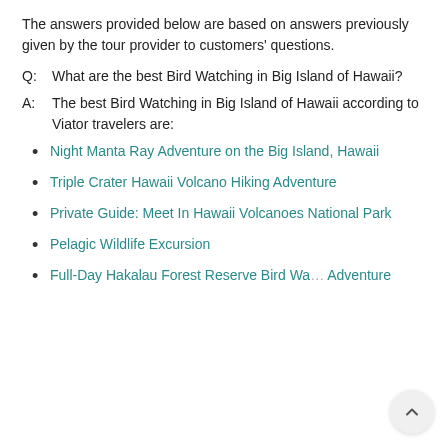The answers provided below are based on answers previously given by the tour provider to customers' questions.
Q:  What are the best Bird Watching in Big Island of Hawaii?
A:  The best Bird Watching in Big Island of Hawaii according to Viator travelers are:
Night Manta Ray Adventure on the Big Island, Hawaii
Triple Crater Hawaii Volcano Hiking Adventure
Private Guide: Meet In Hawaii Volcanoes National Park
Pelagic Wildlife Excursion
Full-Day Hakalau Forest Reserve Bird Wa… Adventure